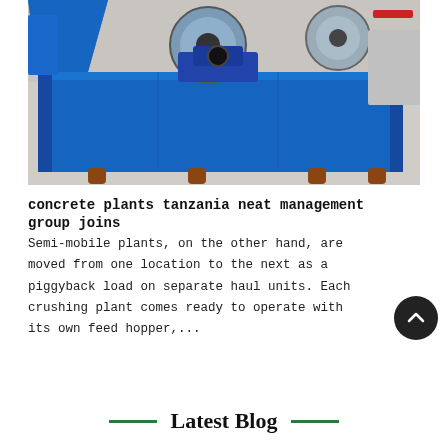[Figure (photo): Industrial blue metal hopper/bin machinery on display floor, with circular mechanical components visible in the background. The front of the machine is a large blue steel panel with support legs.]
concrete plants tanzania neat management group joins
Semi-mobile plants, on the other hand, are moved from one location to the next as a piggyback load on separate haul units. Each crushing plant comes ready to operate with its own feed hopper,...
Latest Blog